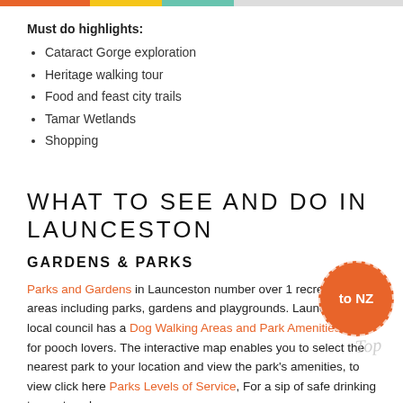Must do highlights:
Cataract Gorge exploration
Heritage walking tour
Food and feast city trails
Tamar Wetlands
Shopping
WHAT TO SEE AND DO IN LAUNCESTON
GARDENS & PARKS
Parks and Gardens in Launceston number over 1 recreational areas including parks, gardens and playgrounds. Launceston local council has a Dog Walking Areas and Park Amenities map for pooch lovers. The interactive map enables you to select the nearest park to your location and view the park's amenities, to view click here Parks Levels of Service, For a sip of safe drinking tap water when